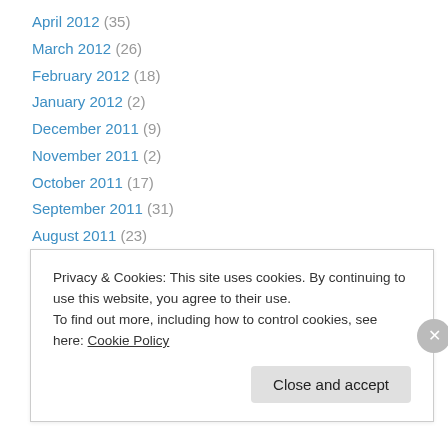April 2012 (35)
March 2012 (26)
February 2012 (18)
January 2012 (2)
December 2011 (9)
November 2011 (2)
October 2011 (17)
September 2011 (31)
August 2011 (23)
July 2011 (1)
May 2011 (19)
April 2011 (12)
March 2011 (36)
Privacy & Cookies: This site uses cookies. By continuing to use this website, you agree to their use. To find out more, including how to control cookies, see here: Cookie Policy
Close and accept